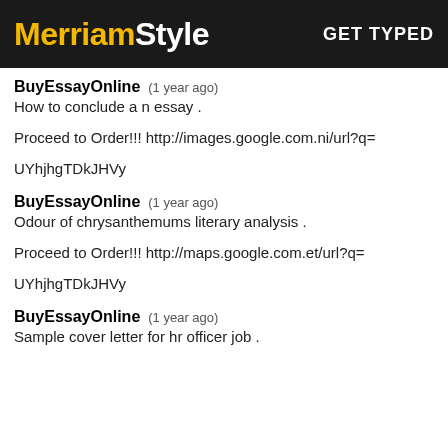MerriamStyle   GET TYPED
BuyEssayOnline   (1 year ago)
How to conclude a n essay .
Proceed to Order!!! http://images.google.com.ni/url?q=
UYhjhgTDkJHVy
BuyEssayOnline   (1 year ago)
Odour of chrysanthemums literary analysis .
Proceed to Order!!! http://maps.google.com.et/url?q=
UYhjhgTDkJHVy
BuyEssayOnline   (1 year ago)
Sample cover letter for hr officer job .